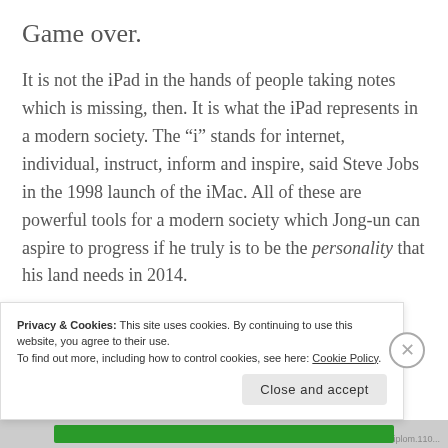Game over.
It is not the iPad in the hands of people taking notes which is missing, then. It is what the iPad represents in a modern society. The “i” stands for internet, individual, instruct, inform and inspire, said Steve Jobs in the 1998 launch of the iMac. All of these are powerful tools for a modern society which Jong-un can aspire to progress if he truly is to be the personality that his land needs in 2014.
Privacy & Cookies: This site uses cookies. By continuing to use this website, you agree to their use. To find out more, including how to control cookies, see here: Cookie Policy
Close and accept